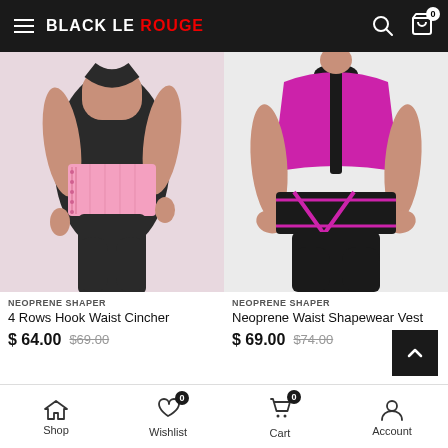BLACK LE ROUGE - Navigation header with hamburger menu, logo, search and cart icons
[Figure (photo): Woman wearing a pink 4-row hook waist cincher over black clothing, product shot]
NEOPRENE SHAPER
4 Rows Hook Waist Cincher
$ 64.00  $69.00
[Figure (photo): Woman wearing a black and pink neoprene waist shapewear vest with zip front, product shot]
NEOPRENE SHAPER
Neoprene Waist Shapewear Vest
$ 69.00  $74.00
Shop | Wishlist 0 | Cart 0 | Account